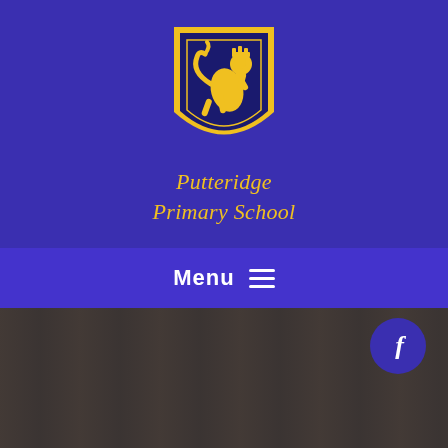[Figure (logo): Putteridge Primary School shield logo with gold lion on dark blue background, on purple header]
Putteridge Primary School
[Figure (screenshot): Navigation menu bar with Menu text and hamburger icon on medium purple background]
[Figure (photo): Dark brownish-grey background content area with a circular Facebook button in top right]